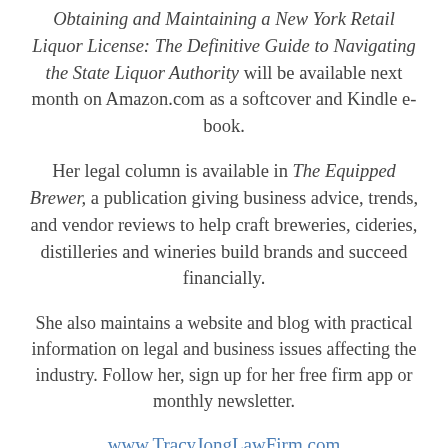Obtaining and Maintaining a New York Retail Liquor License: The Definitive Guide to Navigating the State Liquor Authority will be available next month on Amazon.com as a softcover and Kindle e-book.
Her legal column is available in The Equipped Brewer, a publication giving business advice, trends, and vendor reviews to help craft breweries, cideries, distilleries and wineries build brands and succeed financially.
She also maintains a website and blog with practical information on legal and business issues affecting the industry. Follow her, sign up for her free firm app or monthly newsletter.
www.TracyJongLawFirm.com
TJong@TracyJongLawFirm.com